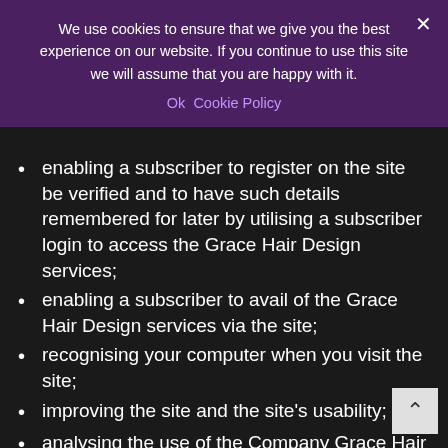We use cookies to ensure that we give you the best experience on our website. If you continue to use this site we will assume that you are happy with it.
Ok  Cookie Policy
enabling a subscriber to register on the site be verified and to have such details remembered for later by utilising a subscriber login to access the Grace Hair Design services;
enabling a subscriber to avail of the Grace Hair Design services via the site;
recognising your computer when you visit the site;
improving the site and the site's usability;
analysing the use of the Company Grace Hair Design services;
administrating the site;
preventing fraud and improving the